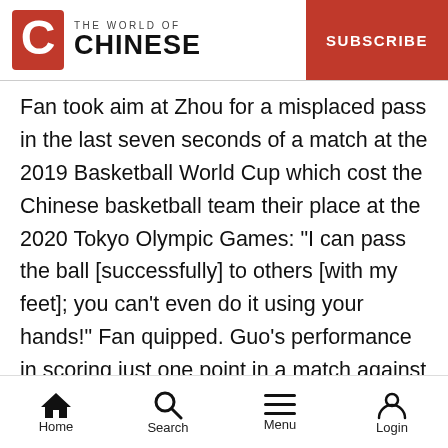THE WORLD OF CHINESE | SUBSCRIBE
Fan took aim at Zhou for a misplaced pass in the last seven seconds of a match at the 2019 Basketball World Cup which cost the Chinese basketball team their place at the 2020 Tokyo Olympic Games: “I can pass the ball [successfully] to others [with my feet]; you can’t even do it using your hands!” Fan quipped. Guo’s performance in scoring just one point in a match against Venezuela during that same tournament also became the butt of Fan’s jokes: “It’s not easy to get only one point in a basketball game.”
Many lauded those barbs, but Fan also touched some nerves. Wang Shipeng, a basketball player turned
Home | Search | Menu | Login